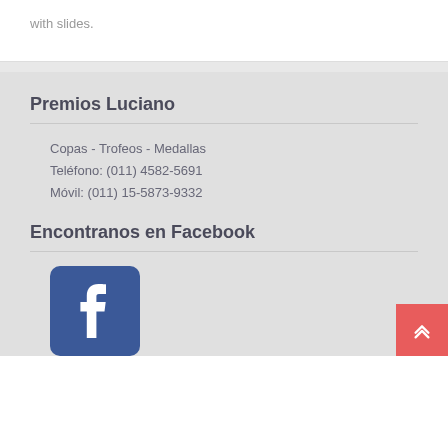with slides.
Premios Luciano
Copas - Trofeos - Medallas
Teléfono: (011) 4582-5691
Móvil: (011) 15-5873-9332
Encontranos en Facebook
[Figure (logo): Facebook logo: blue rounded rectangle with white letter f]